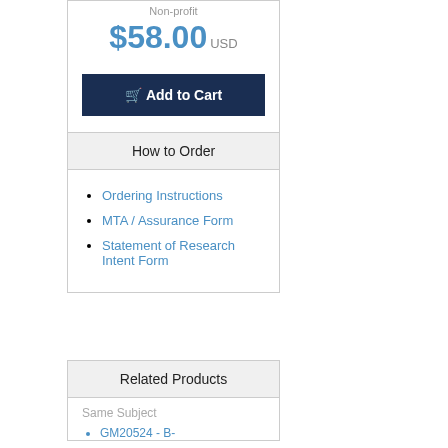Non-profit
$58.00 USD
Add to Cart
How to Order
Ordering Instructions
MTA / Assurance Form
Statement of Research Intent Form
Related Products
Same Subject
GM20524 - B-